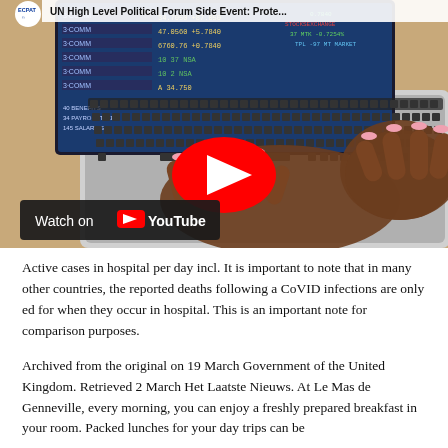[Figure (screenshot): A YouTube video thumbnail showing hands typing on a laptop keyboard with a financial data screen. A red YouTube play button is visible in the center. A 'Watch on YouTube' badge appears at the bottom left. At the top, partial text reads 'UN High Level Political Forum Side Event: Prote...' with ECPAT logo.]
Active cases in hospital per day incl. It is important to note that in many other countries, the reported deaths following a CoVID infections are only ed for when they occur in hospital. This is an important note for comparison purposes.
Archived from the original on 19 March Government of the United Kingdom. Retrieved 2 March Het Laatste Nieuws. At Le Mas de Genneville, every morning, you can enjoy a freshly prepared breakfast in your room. Packed lunches for your day trips can be